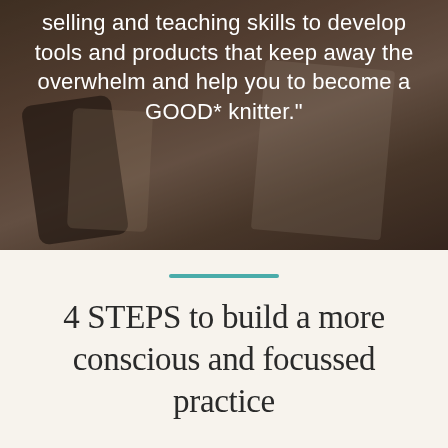[Figure (photo): Dark photographic background showing knitting-related items including a phone case with floral pattern, cards/booklets with illustrated designs, and knitting accessories on a dark surface. Overlaid with white text about selling and teaching skills.]
selling and teaching skills to develop tools and products that keep away the overwhelm and help you to become a GOOD* knitter."
4 STEPS to build a more conscious and focussed practice